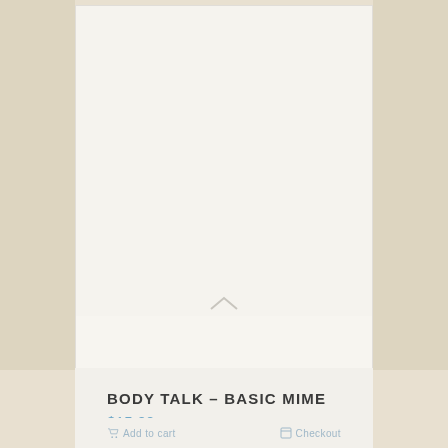[Figure (photo): Product image area — blank/white card for a product called Body Talk - Basic Mime, showing a product listing card with chevron at bottom]
BODY TALK – BASIC MIME
$15.00